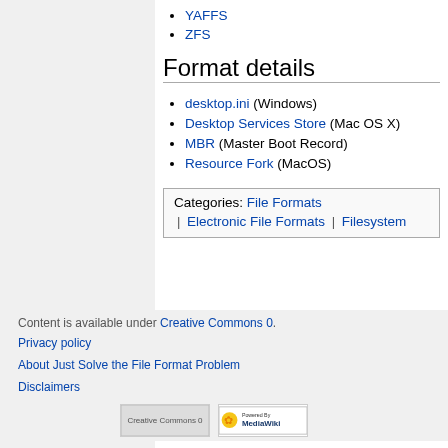YAFFS
ZFS
Format details
desktop.ini (Windows)
Desktop Services Store (Mac OS X)
MBR (Master Boot Record)
Resource Fork (MacOS)
| Categories: File Formats | Electronic File Formats | Filesystem |
Content is available under Creative Commons 0.
Privacy policy
About Just Solve the File Format Problem
Disclaimers
[Figure (logo): Creative Commons 0 badge and MediaWiki powered logo]